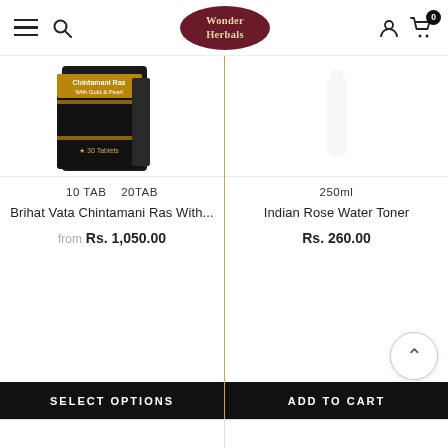Wonder Herbals — navigation header with hamburger menu, search icon, logo, user icon, cart (0)
[Figure (photo): Product box of Chintamani Ras With Gold & Pearl, dark box with gold accents, 30 tablets]
10 TAB   20TAB
Brihat Vata Chintamani Ras With...
from Rs. 1,050.00
SELECT OPTIONS
250ml
Indian Rose Water Toner
Rs. 260.00
ADD TO CART